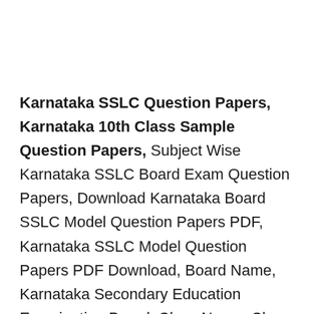Karnataka SSLC Question Papers, Karnataka 10th Class Sample Question Papers, Subject Wise Karnataka SSLC Board Exam Question Papers, Download Karnataka Board SSLC Model Question Papers PDF, Karnataka SSLC Model Question Papers PDF Download, Board Name, Karnataka Secondary Education Examination Board, Class Name, Class 10th/ SSLC, Name of Exam, Public